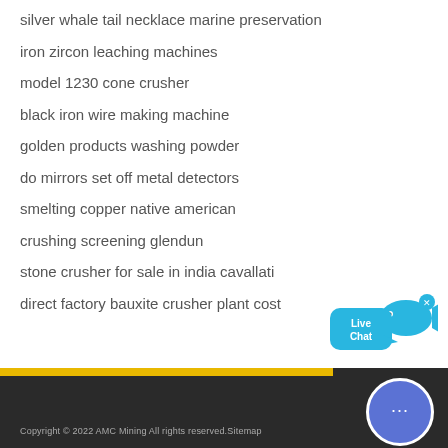silver whale tail necklace marine preservation
iron zircon leaching machines
model 1230 cone crusher
black iron wire making machine
golden products washing powder
do mirrors set off metal detectors
smelting copper native american
crushing screening glendun
stone crusher for sale in india cavallati
direct factory bauxite crusher plant cost
[Figure (illustration): Live Chat widget with blue speech bubble, fish icon, and close X button]
Copyright © 2022 AMC Mining All rights reserved.Sitemap